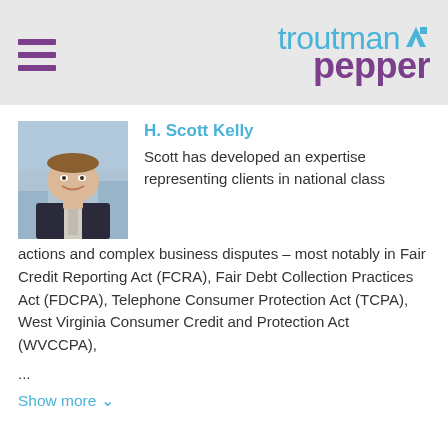troutman pepper
[Figure (photo): Headshot photo of H. Scott Kelly, a man in a dark suit and light tie, smiling, with a building background.]
H. Scott Kelly
Scott has developed an expertise representing clients in national class actions and complex business disputes – most notably in Fair Credit Reporting Act (FCRA), Fair Debt Collection Practices Act (FDCPA), Telephone Consumer Protection Act (TCPA), West Virginia Consumer Credit and Protection Act (WVCCPA),
...
Show more ∨